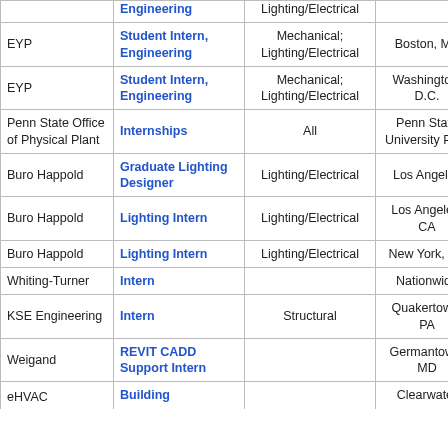| Company | Position | Discipline | Location | Date |
| --- | --- | --- | --- | --- |
|  | Engineering | Lighting/Electrical |  |  |
| EYP | Student Intern, Engineering | Mechanical; Lighting/Electrical | Boston, MA | 3/1 |
| EYP | Student Intern, Engineering | Mechanical; Lighting/Electrical | Washington, D.C. | 3/1 |
| Penn State Office of Physical Plant | Internships | All | Penn State University Park | 2/2 |
| Buro Happold | Graduate Lighting Designer | Lighting/Electrical | Los Angeles | 2/2 |
| Buro Happold | Lighting Intern | Lighting/Electrical | Los Angeles, CA | 2/2 |
| Buro Happold | Lighting Intern | Lighting/Electrical | New York, NY | 2/2 |
| Whiting-Turner | Intern |  | Nationwide | 2/2 |
| KSE Engineering | Intern | Structural | Quakertown, PA | 2/1 |
| Weigand | REVIT CADD Support Intern |  | Germantown, MD | 2/1 |